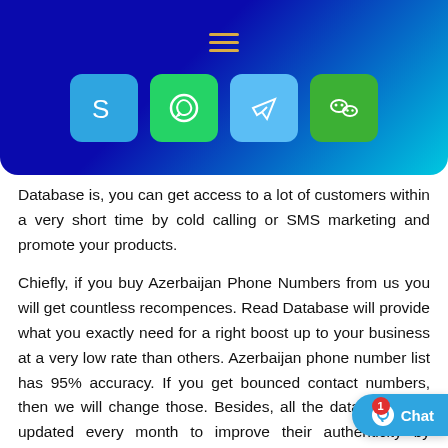[Figure (infographic): Dark blue to cyan gradient header banner with hamburger menu icon and four social media icon buttons: Skype (blue), WhatsApp (green), Telegram (light blue), WeChat (green)]
Database is, you can get access to a lot of customers within a very short time by cold calling or SMS marketing and promote your products.
Chiefly, if you buy Azerbaijan Phone Numbers from us you will get countless recompences. Read Database will provide what you exactly need for a right boost up to your business at a very low rate than others. Azerbaijan phone number list has 95% accuracy. If you get bounced contact numbers, then we will change those. Besides, all the databases are updated every month to improve their authenticity by working on the field on a consis